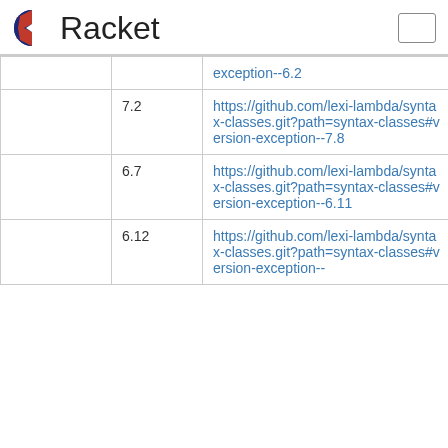Racket
|  |  | URL | Hash |
| --- | --- | --- | --- |
|  |  | exception--6.2 |  |
|  | 7.2 | https://github.com/lexi-lambda/syntax-classes.git?path=syntax-classes#version-exception--7.8 | a8a95ede |
|  | 6.7 | https://github.com/lexi-lambda/syntax-classes.git?path=syntax-classes#version-exception--6.11 | 9498cdfc |
|  | 6.12 | https://github.com/lexi-lambda/syntax-classes.git?path=syntax-classes#version-exception-- | a8a95ede |